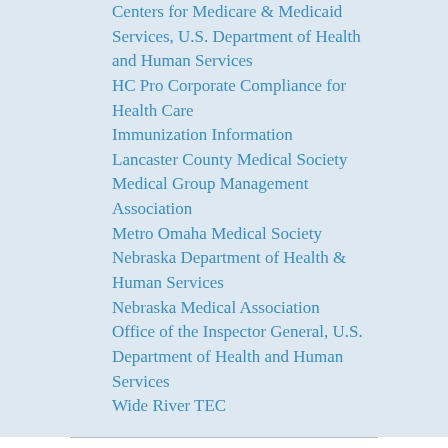Centers for Medicare & Medicaid Services, U.S. Department of Health and Human Services
HC Pro Corporate Compliance for Health Care
Immunization Information
Lancaster County Medical Society
Medical Group Management Association
Metro Omaha Medical Society
Nebraska Department of Health & Human Services
Nebraska Medical Association
Office of the Inspector General, U.S. Department of Health and Human Services
Wide River TEC
VW ESTATE PLANNING BLOG, BUSINESS SUCCESSION PLANNING, ASSET PROTECTION PLANNING BLOG
Mary Vandenack on New York State Bar Association Committee on Professional Ethics Opinion 1182: How Long Do You Have to Keep Old Wills